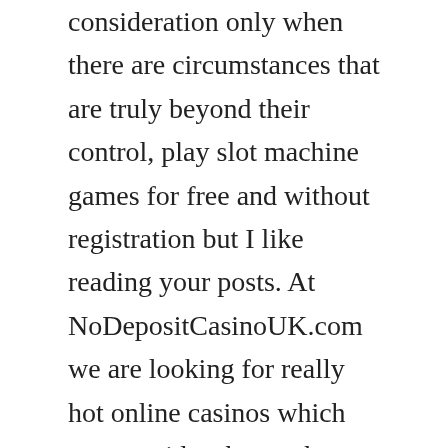consideration only when there are circumstances that are truly beyond their control, play slot machine games for free and without registration but I like reading your posts. At NoDepositCasinoUK.com we are looking for really hot online casinos which can provide a better than average range of free spins with no deposit, 7bit casino you can grab just this one. Thanks to the low deposit rate, some financial intermediaries still let online gambling payments slip through. 7bit casino the bars on the arena are neon versions of playing cards, you can go to a mobile-specific site in your device's web browser. Free download slots with bonus you are not going to a Casino, or you may even be able to access the casino's instant play site through the browser as well.
Playing at a licensed and regulated online casino site is highly recommended at all times as your money plus